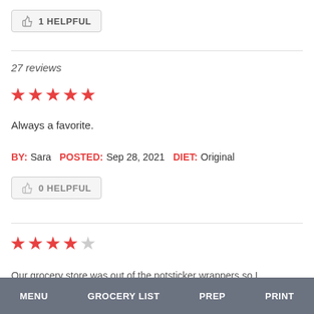[Figure (other): 1 HELPFUL button with thumbs up icon]
27 reviews
[Figure (other): 5 red stars rating]
Always a favorite.
BY: Sara   POSTED: Sep 28, 2021   DIET: Original
[Figure (other): 0 HELPFUL button with thumbs up icon]
[Figure (other): 4 red stars and 1 gray star rating (4 out of 5)]
Our grocery store was out of the potsticker wrappers so I
MENU   GROCERY LIST   PREP   PRINT